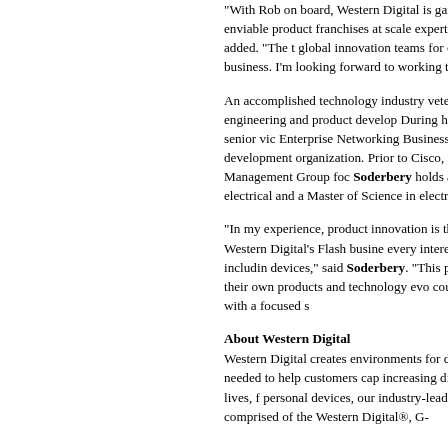“With Rob on board, Western Digital is gaining a hi successfully led enviable product franchises at scale expertise to the company,” Goeckeler added. “The t global innovation teams for over a decade makes him Flash business. I’m looking forward to working toge
An accomplished technology industry veteran, Soder experience leading engineering and product develop During his tenure at Cisco, Soderbery was senior vic Enterprise Networking Business where he led the co global development organization. Prior to Cisco, Sod where he led its Availability Management Group foc Soderbery holds a Bachelor of Science in electrical and a Master of Science in electrical engineering fro
“In my experience, product innovation is the outcom my imagination about Western Digital’s Flash busine every interesting end market in technology, includin devices,” said Soderbery. “This potential opens the consider how their own products and technology evo couple strong technology execution with a focused s
About Western Digital
Western Digital creates environments for data to thri driving the innovation needed to help customers cap increasing diversity of data. Everywhere data lives, f personal devices, our industry-leading solutions deli solutions are comprised of the Western Digital®, G-